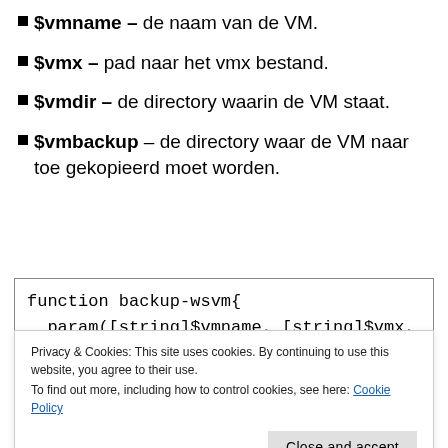$vmname – de naam van de VM.
$vmx – pad naar het vmx bestand.
$vmdir – de directory waarin de VM staat.
$vmbackup – de directory waar de VM naar toe gekopieerd moet worden.
function backup-wsvm{
  param([string]$vmname, [string]$vmx,
[string]$vmdir, [string]$vmbackup)
Privacy & Cookies: This site uses cookies. By continuing to use this website, you agree to their use.
To find out more, including how to control cookies, see here: Cookie Policy
$date = get-date -dformat '%m/%d/%Y'